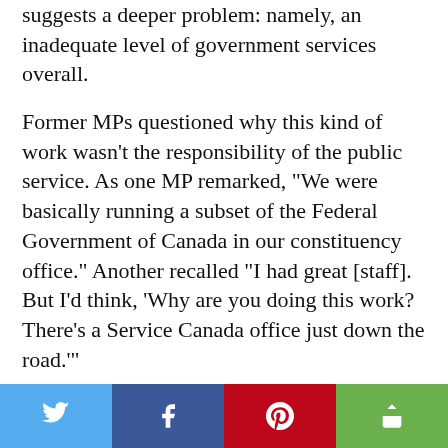suggests a deeper problem: namely, an inadequate level of government services overall.
Former MPs questioned why this kind of work wasn't the responsibility of the public service. As one MP remarked, “We were basically running a subset of the Federal Government of Canada in our constituency office.” Another recalled “I had great [staff]. But I’d think, ‘Why are you doing this work? There’s a Service Canada office just down the road.’”
Piecemeal solutions doled out one person